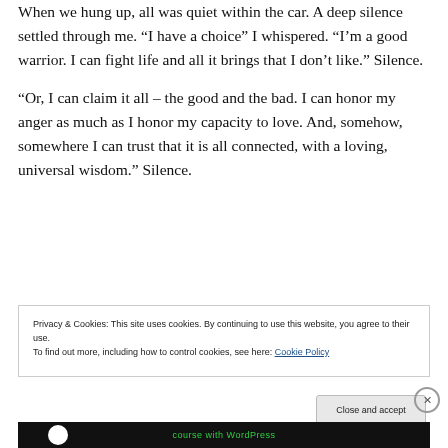When we hung up, all was quiet within the car. A deep silence settled through me. “I have a choice” I whispered. “I’m a good warrior. I can fight life and all it brings that I don’t like.” Silence.
“Or, I can claim it all – the good and the bad. I can honor my anger as much as I honor my capacity to love. And, somehow, somewhere I can trust that it is all connected, with a loving, universal wisdom.” Silence.
[Figure (other): Green advertisement banner with 'REPORT THIS AD' text below it]
Privacy & Cookies: This site uses cookies. By continuing to use this website, you agree to their use.
To find out more, including how to control cookies, see here: Cookie Policy
Close and accept
[Figure (screenshot): Bottom portion of a WordPress course advertisement showing logo circle and text 'course with WordPress']